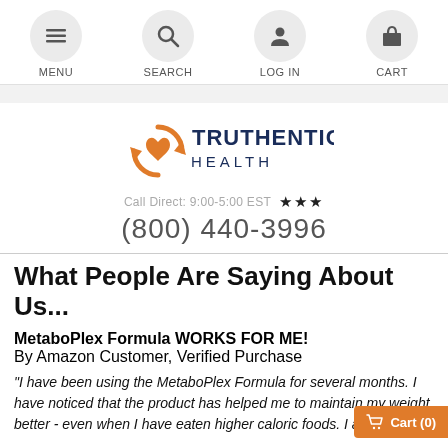MENU  SEARCH  LOG IN  CART
[Figure (logo): Truthentics Health logo with orange circular arrow icon and dark blue text]
Call Direct: 9:00-5:00 EST ★★★
(800) 440-3996
What People Are Saying About Us...
MetaboPlex Formula WORKS FOR ME!
By Amazon Customer, Verified Purchase
"I have been using the MetaboPlex Formula for several months. I have noticed that the product has helped me to maintain my weight better - even when I have eaten higher caloric foods. I am